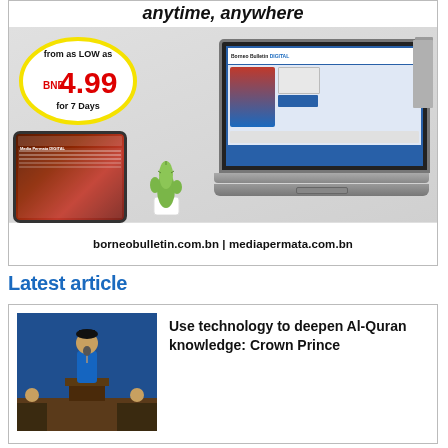[Figure (advertisement): Digital newspaper subscription advertisement showing a laptop and tablet with Borneo Bulletin Digital website displayed. Features a price bubble showing 'from as LOW as BND 4.99 for 7 Days'. Bottom shows URLs: borneobulletin.com.bn | mediapermata.com.bn]
Latest article
[Figure (photo): Photo of a person in blue clothing speaking at a podium]
Use technology to deepen Al-Quran knowledge: Crown Prince